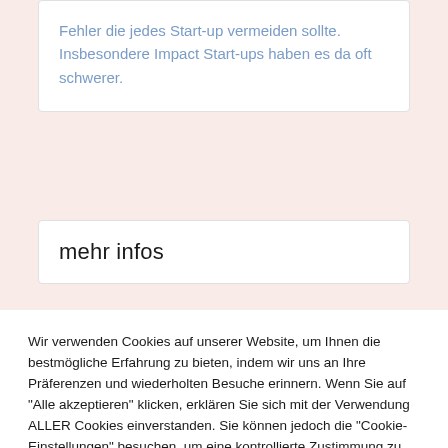Fehler die jedes Start-up vermeiden sollte. Insbesondere Impact Start-ups haben es da oft schwerer.
mehr infos
Wir verwenden Cookies auf unserer Website, um Ihnen die bestmögliche Erfahrung zu bieten, indem wir uns an Ihre Präferenzen und wiederholten Besuche erinnern. Wenn Sie auf "Alle akzeptieren" klicken, erklären Sie sich mit der Verwendung ALLER Cookies einverstanden. Sie können jedoch die "Cookie-Einstellungen" besuchen, um eine kontrollierte Zustimmung zu erteilen.
Cookie Settings
Alle akzeptieren